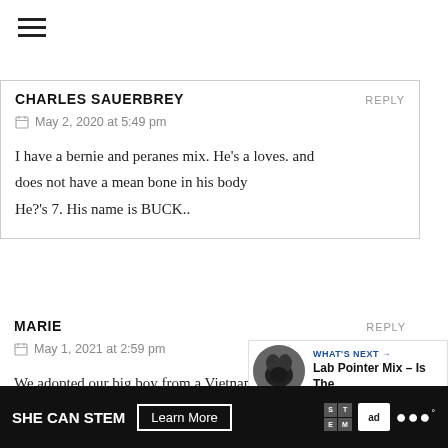[Figure (illustration): Hamburger menu icon (three horizontal lines)]
CHARLES SAUERBREY
REPLY
May 2, 2020 at 5:49 pm
I have a bernie and peranes mix. He's a loves. and does not have a mean bone in his body
He?'s 7. His name is BUCK..
8
MARIE
REPLY
May 1, 2021 at 2:59 pm
We adopted our big boy from a Vietnam E
Marine. At 130lbs, our baby was quite large. His
[Figure (screenshot): What's Next widget showing Lab Pointer Mix – Is The... with dog photo]
SHE CAN STEM   Learn More